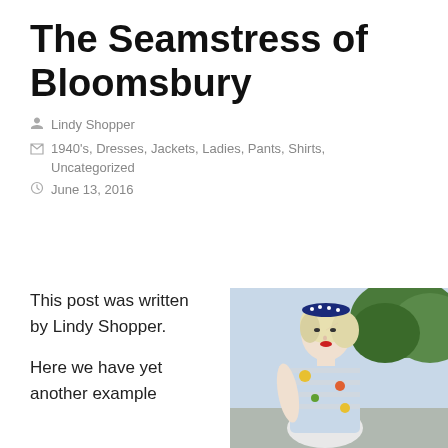The Seamstress of Bloomsbury
Lindy Shopper
1940's, Dresses, Jackets, Ladies, Pants, Shirts, Uncategorized
June 13, 2016
This post was written by Lindy Shopper.
Here we have yet another example
[Figure (photo): A woman with blonde hair wearing a polka dot headband and a floral striped dress, posed outdoors with trees in the background.]